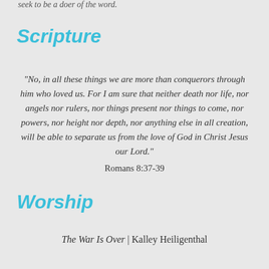seek to be a doer of the word.
Scripture
“No, in all these things we are more than conquerors through him who loved us. For I am sure that neither death nor life, nor angels nor rulers, nor things present nor things to come, nor powers, nor height nor depth, nor anything else in all creation, will be able to separate us from the love of God in Christ Jesus our Lord.” Romans 8:37-39
Worship
The War Is Over | Kalley Heiligenthal